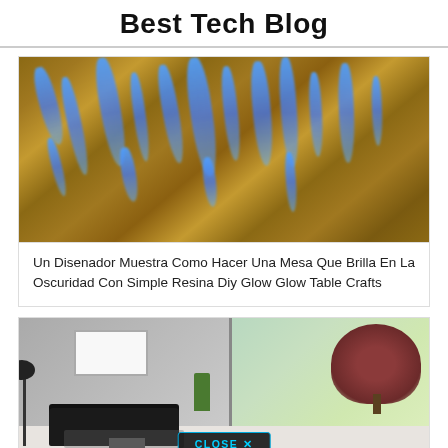Best Tech Blog
[Figure (photo): Wooden table/surface with glowing blue resin inlays illuminated against a warm wood-tone background]
Un Disenador Muestra Como Hacer Una Mesa Que Brilla En La Oscuridad Con Simple Resina Diy Glow Glow Table Crafts
[Figure (photo): 3D rendered modern living room with black sofa, floor lamp, wall art, indoor plant, and a large window showing trees outside. Has a CLOSE X button overlay.]